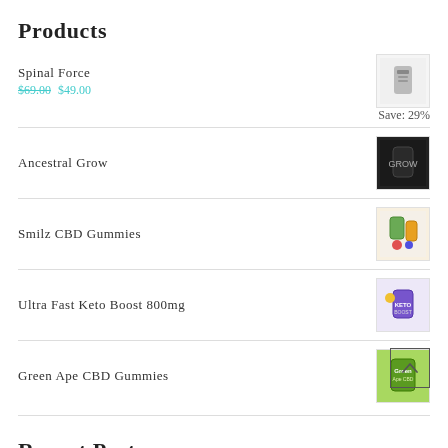Products
Spinal Force  $69.00 $49.00  Save: 29%
Ancestral Grow
Smilz CBD Gummies
Ultra Fast Keto Boost 800mg
Green Ape CBD Gummies
Recent Posts
CannaLeafz CBD Gummies - Reduce Stress, Depression & Pain Naturally!